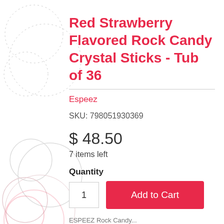Red Strawberry Flavored Rock Candy Crystal Sticks - Tub of 36
Espeez
SKU: 798051930369
$ 48.50
7 items left
Quantity
1
Add to Cart
ESPEEZ Rock Candy...